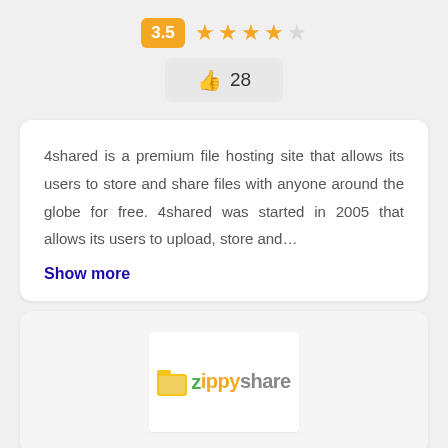[Figure (infographic): Rating badge showing 3.5 with four and a half orange stars]
[Figure (infographic): Thumbs up button showing 28 likes]
4shared is a premium file hosting site that allows its users to store and share files with anyone around the globe for free. 4shared was started in 2005 that allows its users to upload, store and...
Show more
[Figure (logo): Zippyshare logo with yellow folder icon and colorful text]